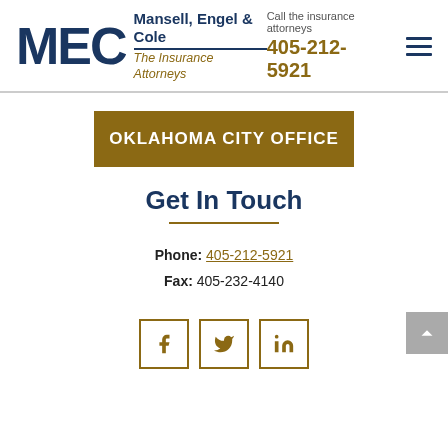[Figure (logo): MEC Mansell, Engel & Cole The Insurance Attorneys logo]
Call the insurance attorneys
405-212-5921
OKLAHOMA CITY OFFICE
Get In Touch
Phone: 405-212-5921
Fax: 405-232-4140
[Figure (infographic): Social media icons: Facebook, Twitter, LinkedIn]